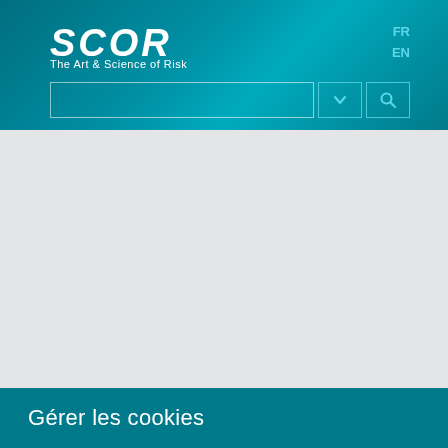[Figure (logo): SCOR logo with tagline 'The Art & Science of Risk' in white on teal gradient header background]
FR
EN
[Figure (screenshot): Search bar with dropdown and search button on teal header background]
[Figure (photo): Empty grey content area]
Gérer les cookies